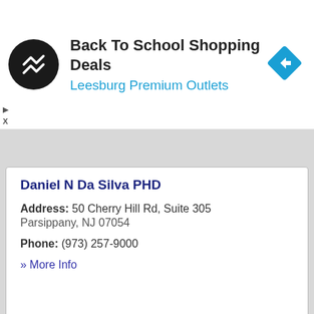[Figure (logo): Ad banner: Back To School Shopping Deals at Leesburg Premium Outlets with circular logo and blue diamond arrow icon]
Daniel N Da Silva PHD
Address: 50 Cherry Hill Rd, Suite 305 Parsippany, NJ 07054
Phone: (973) 257-9000
» More Info
Davanzo Peter A MD
Address: 5 Syldeo Drive Parsippany, NJ 07054
Phone: (973) 515-3047